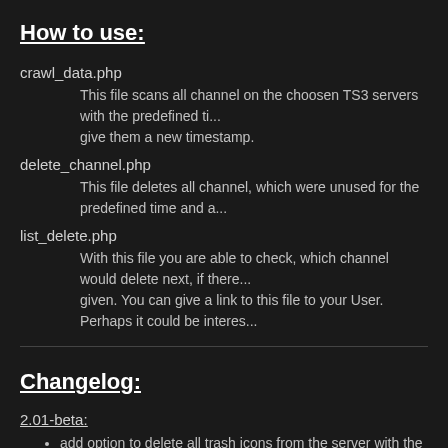How to use:
crawl_data.php
This file scans all channel on the choosen TS3 servers with the predefined ti... give them a new timestamp.
delete_channel.php
This file deletes all channel, which were unused for the predefined time and a...
list_delete.php
With this file you are able to check, which channel would delete next, if there... given. You can give a link to this file to your User. Perhaps it could be interes...
Changelog:
2.01-beta:
add option to delete all trash icons from the server with the cra...
add function to get the username and password of delete_cha...
2.00-beta: